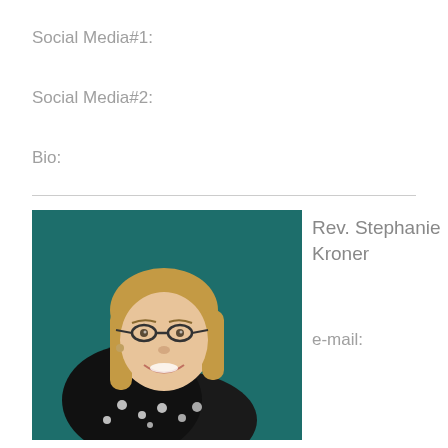Social Media#1:
Social Media#2:
Bio:
[Figure (photo): Portrait photo of Rev. Stephanie Kroner, a woman with shoulder-length blonde hair, glasses, wearing a black floral top, smiling against a dark teal background.]
Rev. Stephanie Kroner
e-mail: